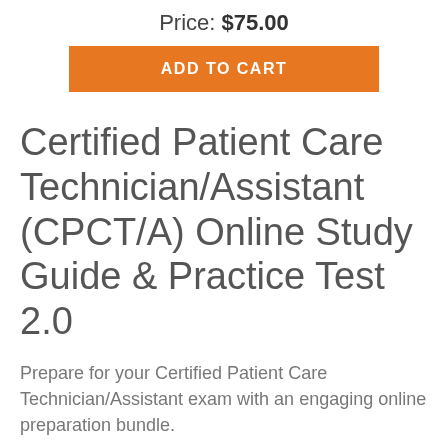Price: $75.00
[Figure (other): Orange ADD TO CART button]
Certified Patient Care Technician/Assistant (CPCT/A) Online Study Guide & Practice Test 2.0
Prepare for your Certified Patient Care Technician/Assistant exam with an engaging online preparation bundle.
ONLINE STUDY GUIDE
Modules: